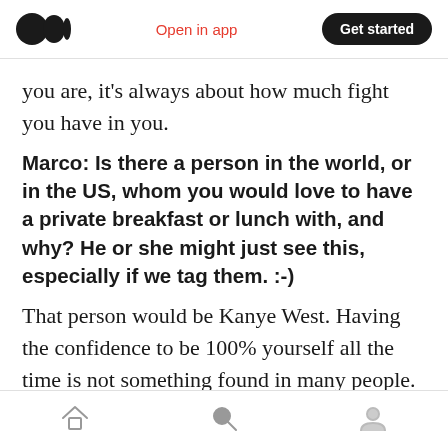Medium app header — Open in app | Get started
you are, it's always about how much fight you have in you.
Marco: Is there a person in the world, or in the US, whom you would love to have a private breakfast or lunch with, and why? He or she might just see this, especially if we tag them. :-)
That person would be Kanye West. Having the confidence to be 100% yourself all the time is not something found in many people. I would love to try and gain some of that confidence by learning from him.
I think that something that...
Bottom navigation bar — Home, Search, Profile